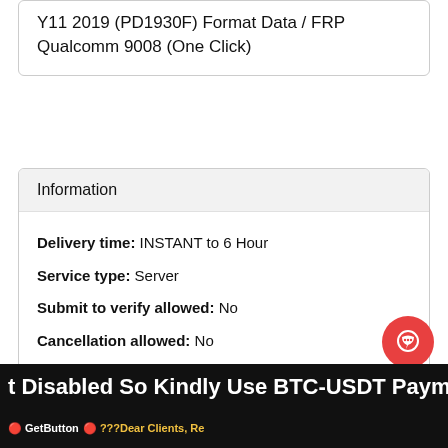Y11 2019 (PD1930F) Format Data / FRP Qualcomm 9008 (One Click)
Information
Delivery time: INSTANT to 6 Hour
Service type: Server
Submit to verify allowed: No
Cancellation allowed: No
Order processing: Manual
t Disabled So Kindly Use BTC-USDT Payment Transf
🔴 ???Dear Clients, Re